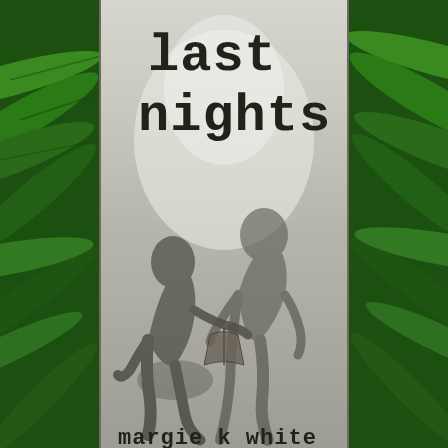[Figure (illustration): Book cover for 'last nights' by margie k white. Central vertical panel with grayish-white textured background showing two shadowy, sketched human figures sitting/reclining together. The title 'last nights' appears at the top in a distressed typewriter-style black font. The author name 'margie k white' appears partially at the bottom. The central panel is flanked on both sides by vivid green tropical foliage (palm leaves). The overall color palette is dark, moody green on the sides with a pale silvery-gray center.]